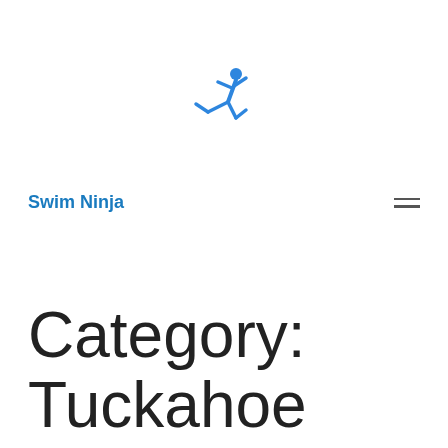[Figure (logo): Blue ninja/karate figure silhouette icon used as the Swim Ninja logo]
Swim Ninja
Category: Tuckahoe